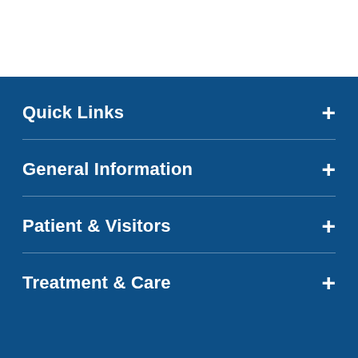Quick Links
General Information
Patient & Visitors
Treatment & Care